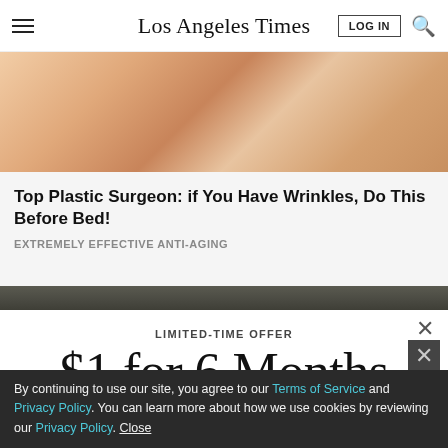Los Angeles Times
[Figure (photo): Close-up photo of skin/face, pinkish skin tones, anti-aging advertisement image]
Top Plastic Surgeon: if You Have Wrinkles, Do This Before Bed!
EXTREMELY EFFECTIVE ANTI-AGING
[Figure (photo): Partial second advertisement image strip, dark tones]
LIMITED-TIME OFFER
$1 for 6 Months
SUBSCRIBE NOW
By continuing to use our site, you agree to our Terms of Service and Privacy Policy. You can learn more about how we use cookies by reviewing our Privacy Policy. Close